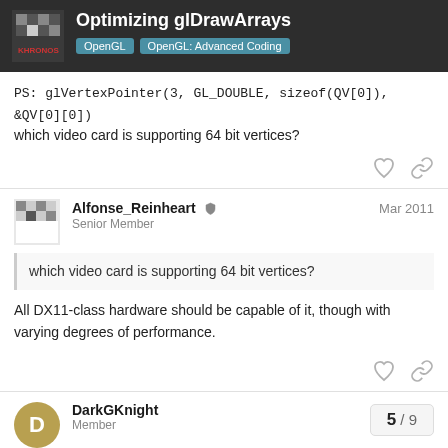Optimizing glDrawArrays | OpenGL | OpenGL: Advanced Coding
PS: glVertexPointer(3, GL_DOUBLE, sizeof(QV[0]), &QV[0][0]) which video card is supporting 64 bit vertices?
Alfonse_Reinheart Senior Member Mar 2011
which video card is supporting 64 bit vertices?
All DX11-class hardware should be capable of it, though with varying degrees of performance.
DarkGKnight Member Mar 2011
5 / 9